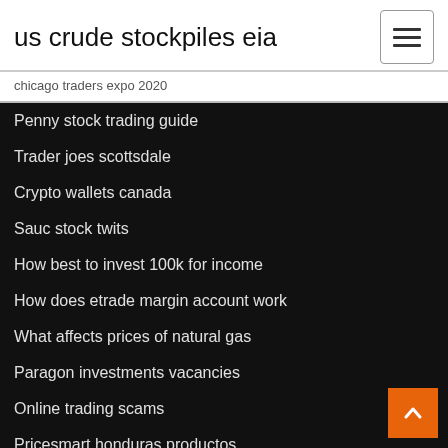us crude stockpiles eia
chicago traders expo 2020
Penny stock trading guide
Trader joes scottsdale
Crypto wallets canada
Sauc stock twits
How best to invest 100k for income
How does etrade margin account work
What affects prices of natural gas
Paragon investments vacancies
Online trading scams
Pricesmart honduras productos